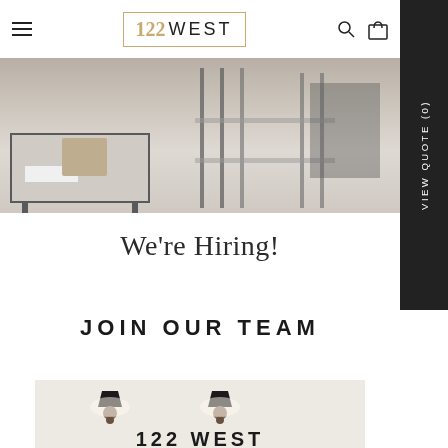122 WEST — navigation header with hamburger menu, logo, search and cart icons
[Figure (photo): Hero image showing office furniture — desks with metal frames, a wicker basket, and white storage boxes on a light wood floor]
We're Hiring!
JOIN OUR TEAM
[Figure (photo): Interior photo of 122 West showroom with two black wall sconce lamps and '122 WEST' sign lettering below]